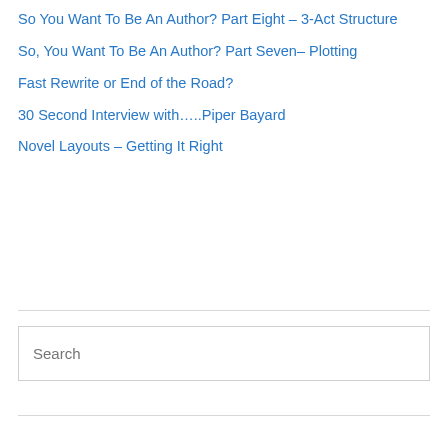So You Want To Be An Author? Part Eight – 3-Act Structure
So, You Want To Be An Author? Part Seven– Plotting
Fast Rewrite or End of the Road?
30 Second Interview with…..Piper Bayard
Novel Layouts – Getting It Right
Search